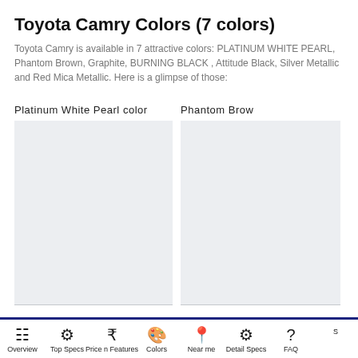Toyota Camry Colors (7 colors)
Toyota Camry is available in 7 attractive colors: PLATINUM WHITE PEARL, Phantom Brown, Graphite, BURNING BLACK , Attitude Black, Silver Metallic and Red Mica Metallic. Here is a glimpse of those:
Platinum White Pearl color
[Figure (photo): Platinum White Pearl color car image placeholder (light gray box)]
Phantom Brow
[Figure (photo): Phantom Brown color car image placeholder (light gray box, partially visible)]
Overview  Top Specs  Price n Features  Colors  Near me  Detail Specs  FAQ  S